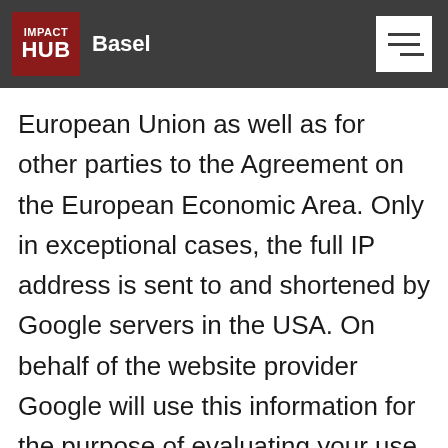IMPACT HUB Basel
European Union as well as for other parties to the Agreement on the European Economic Area. Only in exceptional cases, the full IP address is sent to and shortened by Google servers in the USA. On behalf of the website provider Google will use this information for the purpose of evaluating your use of the website, compiling reports on website activity for website operators and providing other services relating to website activity and internet usage to the website provider.